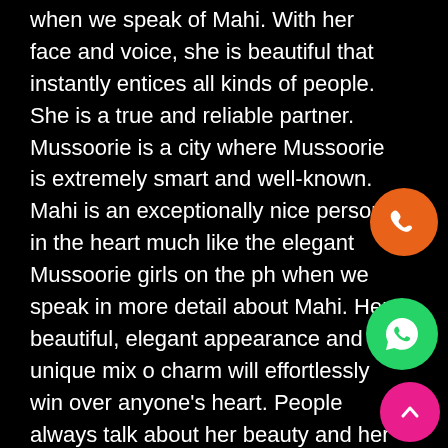when we speak of Mahi. With her face and voice, she is beautiful that instantly entices all kinds of people. She is a true and reliable partner. Mussoorie is a city where Mussoorie is extremely smart and well-known. Mahi is an exceptionally nice person in the heart much like the elegant Mussoorie girls on the ph when we speak in more detail about Mahi. Her beautiful, elegant appearance and unique mix of charm will effortlessly win over anyone's heart. People always talk about her beauty and her sound of her. She is well-known in Mussoorie as a Mussoorie Escort Service and has an answer to every question you have. To make a girl feel happy isn't easy. It requires a lot of work to make a woman content in bed and out of the heart. Mahi is available for booking in Mussoorie Escorts very easily without
[Figure (illustration): Orange circle button with phone handset icon]
[Figure (illustration): Green circle WhatsApp button with phone handset icon]
[Figure (illustration): Pink/magenta circle button with upward chevron arrow icon]